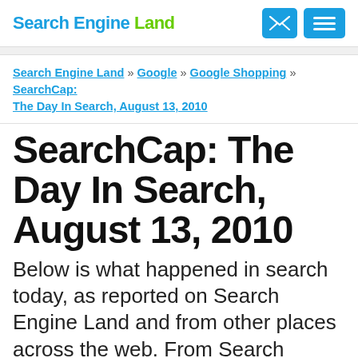Search Engine Land
Search Engine Land » Google » Google Shopping » SearchCap: The Day In Search, August 13, 2010
SearchCap: The Day In Search, August 13, 2010
Below is what happened in search today, as reported on Search Engine Land and from other places across the web. From Search Engine Land: Oracle Sued Google